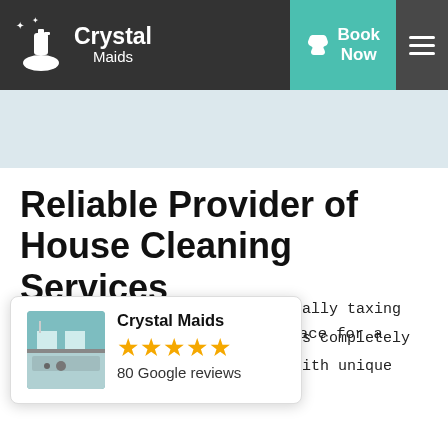[Figure (logo): Crystal Maids logo with cleaning icon on dark navbar]
[Figure (screenshot): Navigation bar with Book Now teal button and hamburger menu]
[Figure (illustration): Light blue hero band below navbar]
Reliable Provider of House Cleaning Services
A clean and tidy house is a place for a happy and healthy
the physically taxing
rystal Maids completely
ifferent with unique needs
[Figure (photo): Crystal Maids Google review card with 5 stars and 80 Google reviews, showing a small photo of a clean kitchen]
Crystal Maids
80 Google reviews